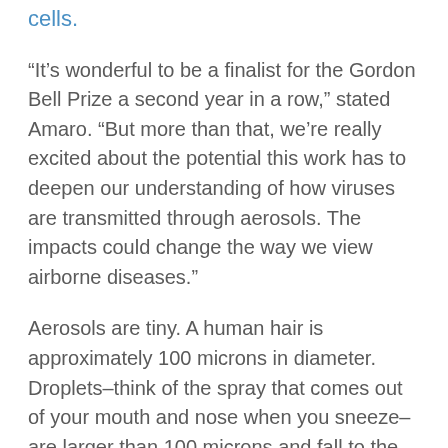cells.
“It’s wonderful to be a finalist for the Gordon Bell Prize a second year in a row,” stated Amaro. “But more than that, we’re really excited about the potential this work has to deepen our understanding of how viruses are transmitted through aerosols. The impacts could change the way we view airborne diseases.”
Aerosols are tiny. A human hair is approximately 100 microns in diameter. Droplets–think of the spray that comes out of your mouth and nose when you sneeze–are larger than 100 microns and fall to the ground in seconds. In contrast, aerosols–produced simply by breathing and speaking-are everything smaller than 100 microns and can float in the air for hours and travel long distances.